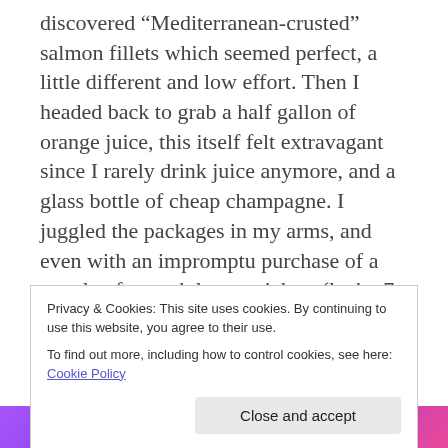discovered “Mediterranean-crusted” salmon fillets which seemed perfect, a little different and low effort. Then I headed back to grab a half gallon of orange juice, this itself felt extravagant since I rarely drink juice anymore, and a glass bottle of cheap champagne. I juggled the packages in my arms, and even with an impromptu purchase of a couple of scratch lottery tickets (lucky 7s to go with my birthdate), I left the store having spent less than $25, but felt extravagant with my purchases. My grocery store run reminded me of stocking up before a storm or before a friend
Privacy & Cookies: This site uses cookies. By continuing to use this website, you agree to their use.
To find out more, including how to control cookies, see here: Cookie Policy
Close and accept
Advertisements